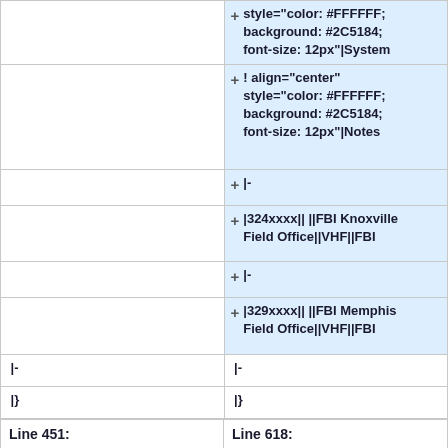|  | style="color: #FFFFFF; background: #2C5184; font-size: 12px"|System |
|  | ! align="center" style="color: #FFFFFF; background: #2C5184; font-size: 12px"|Notes |
|  | |- |
|  | |324xxxx|| ||FBI Knoxville Field Office||VHF||FBI |
|  | |- |
|  | |329xxxx|| ||FBI Memphis Field Office||VHF||FBI |
| |- | |- |
| |} | |} |
Line 451:
Line 618: